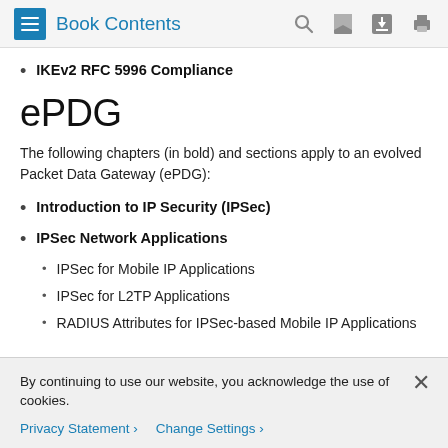Book Contents
IKEv2 RFC 5996 Compliance
ePDG
The following chapters (in bold) and sections apply to an evolved Packet Data Gateway (ePDG):
Introduction to IP Security (IPSec)
IPSec Network Applications
IPSec for Mobile IP Applications
IPSec for L2TP Applications
RADIUS Attributes for IPSec-based Mobile IP Applications
By continuing to use our website, you acknowledge the use of cookies.
Privacy Statement >  Change Settings >